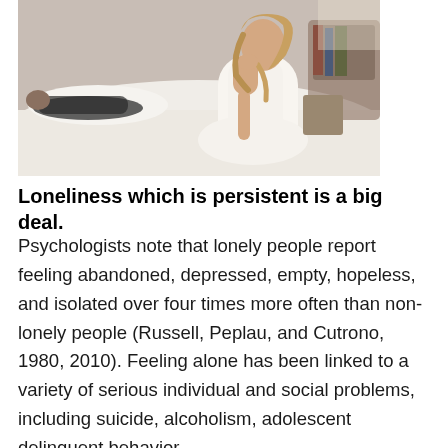[Figure (photo): A woman in a white dress sitting on a bed looking distressed, with a man lying in the background]
Loneliness which is persistent is a big deal.
Psychologists note that lonely people report feeling abandoned, depressed, empty, hopeless, and isolated over four times more often than non-lonely people (Russell, Peplau, and Cutrono, 1980, 2010). Feeling alone has been linked to a variety of serious individual and social problems, including suicide, alcoholism, adolescent delinquent behavior,